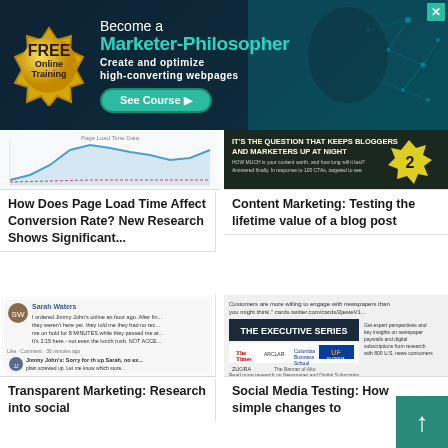[Figure (infographic): Banner advertisement for FREE Online Training - Become a Marketer-Philosopher. Create and optimize high-converting webpages. See Course button. Gold badge on dark teal background with network graphic.]
[Figure (screenshot): Screenshot of a line chart showing page load time vs conversion rate data]
[Figure (screenshot): Screenshot of a dark blog post thumbnail: IT'S THE QUESTION THAT KEEPS BLOGGERS AND MARKETERS UP AT NIGHT with yellow burst and number 2]
How Does Page Load Time Affect Conversion Rate? New Research Shows Significant...
Content Marketing: Testing the lifetime value of a blog post
[Figure (screenshot): Screenshot of a Facebook conversation with Sarah Waters and Jimmy John's customer service response]
[Figure (screenshot): Screenshot showing The Executive Series newspaper research content with logos]
Transparent Marketing: Research into social
Social Media Testing: How simple changes to